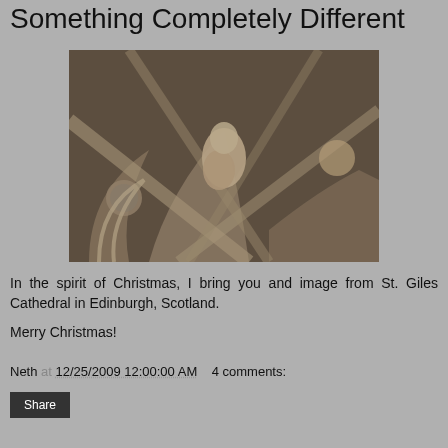Something Completely Different
[Figure (photo): Stone carved figures and architectural details from St. Giles Cathedral in Edinburgh, Scotland. Shows medieval Gothic stonework with carved human figures and arched vaulting.]
In the spirit of Christmas, I bring you and image from St. Giles Cathedral in Edinburgh, Scotland.
Merry Christmas!
Neth at 12/25/2009 12:00:00 AM    4 comments:
Share